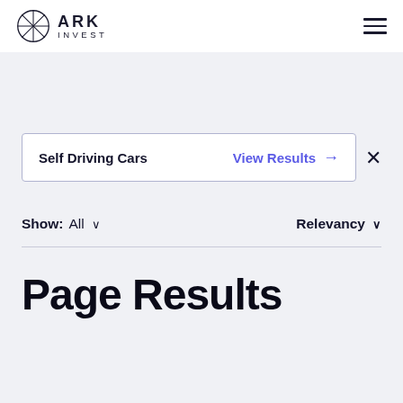ARK INVEST
Self Driving Cars  View Results →  ×
Show: All ∨  Relevancy ∨
Page Results